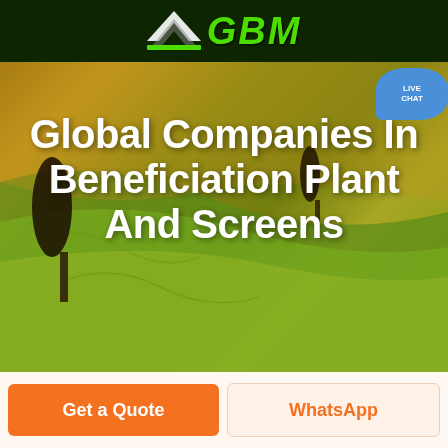[Figure (logo): GBM company logo with green arrow/chevron icon and green italic bold text 'GBM' on dark green header bar]
[Figure (screenshot): Green navigation bar with white hamburger menu icon and blue live chat speech bubble with 'LIVE CHAT' text]
[Figure (photo): Aerial photo of rolling farmland fields with warm golden and green tones, two dark tree silhouettes on left and center-right]
Global Companies In Beneficiation Plant And Screens
[Figure (other): Orange 'Get a Quote' button and cream/white 'WhatsApp' button in orange text at bottom of page]